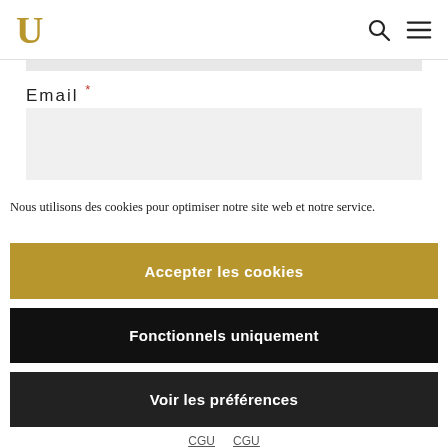U
Email *
Nous utilisons des cookies pour optimiser notre site web et notre service.
Accepter les cookies
Fonctionnels uniquement
Voir les préférences
CGU  CGU